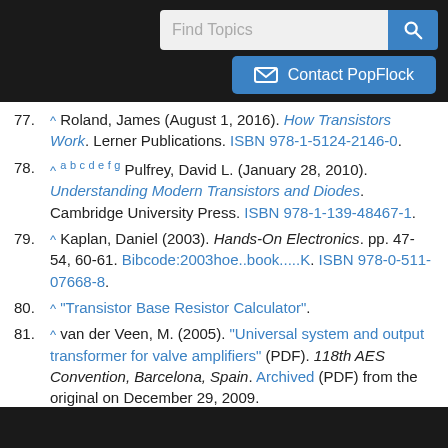Find Topics / Contact PopFlock (UI elements)
77. ^ Roland, James (August 1, 2016). How Transistors Work. Lerner Publications. ISBN 978-1-5124-2146-0.
78. ^ a b c d e f g Pulfrey, David L. (January 28, 2010). Understanding Modern Transistors and Diodes. Cambridge University Press. ISBN 978-1-139-48467-1.
79. ^ Kaplan, Daniel (2003). Hands-On Electronics. pp. 47-54, 60-61. Bibcode:2003hoe..book.....K. ISBN 978-0-511-07668-8.
80. ^ "Transistor Base Resistor Calculator".
81. ^ van der Veen, M. (2005). "Universal system and output transformer for valve amplifiers" (PDF). 118th AES Convention, Barcelona, Spain. Archived (PDF) from the original on December 29, 2009.
82. ^ "Transistor Example". Archived from the original on February 8, 2008. 071003 bcae1.com
83. ^ Gumyusenge, Aristide; Tran, Dung T.; Luo, Xuyi; Pitch, Gregory M.; Zhao, Yan; Jenkins, Kaelon A.; Dunn, Tim J.;